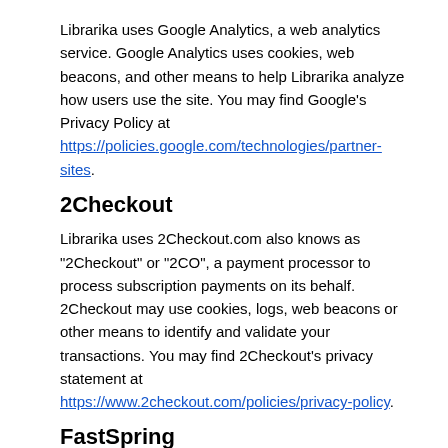Librarika uses Google Analytics, a web analytics service. Google Analytics uses cookies, web beacons, and other means to help Librarika analyze how users use the site. You may find Google's Privacy Policy at https://policies.google.com/technologies/partner-sites.
2Checkout
Librarika uses 2Checkout.com also knows as "2Checkout" or "2CO", a payment processor to process subscription payments on its behalf. 2Checkout may use cookies, logs, web beacons or other means to identify and validate your transactions. You may find 2Checkout's privacy statement at https://www.2checkout.com/policies/privacy-policy.
FastSpring
Librarika uses fastSpring.com, a payment processor to process subscription payments on its behalf. FastSpring may use cookies, logs, web beacons or other means to identify and validate your transactions. You may find fastSpring's privacy statement at https://fastspring.com/privacy.